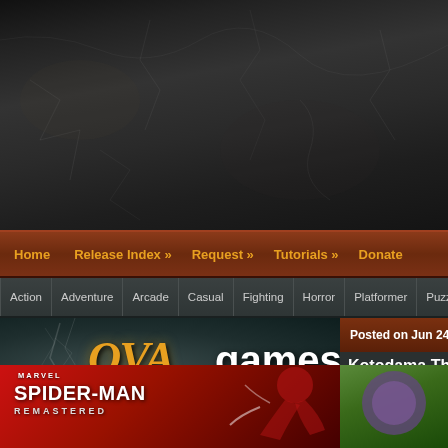[Figure (screenshot): Dark cracked texture header background]
Home | Release Index » | Request » | Tutorials » | Donate
Action
Adventure
Arcade
Casual
Fighting
Horror
Platformer
Puzzle
[Figure (logo): OVA Games logo with golden OVA text and white games text on dark cracked background]
exclusive games
Posted on Jun 24, 2019
Kotodama The
Categories: Casual, Scene Games, V
[Figure (screenshot): Marvel's Spider-Man Remastered game cover art with red background and Spider-Man figure]
[Figure (screenshot): Game thumbnail with purple character on green background]